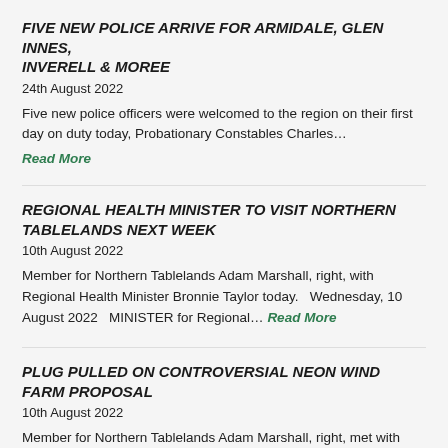FIVE NEW POLICE ARRIVE FOR ARMIDALE, GLEN INNES, INVERELL & MOREE
24th August 2022
Five new police officers were welcomed to the region on their first day on duty today, Probationary Constables Charles…
Read More
REGIONAL HEALTH MINISTER TO VISIT NORTHERN TABLELANDS NEXT WEEK
10th August 2022
Member for Northern Tablelands Adam Marshall, right, with Regional Health Minister Bronnie Taylor today.   Wednesday, 10 August 2022   MINISTER for Regional… Read More
PLUG PULLED ON CONTROVERSIAL NEON WIND FARM PROPOSAL
10th August 2022
Member for Northern Tablelands Adam Marshall, right, met with Energy Minister Matt Kean yesterday in State Parliament